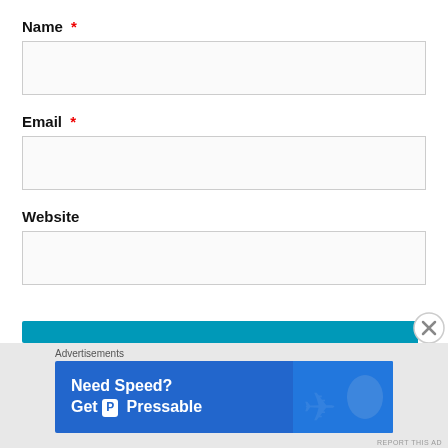Name *
[Figure (other): Empty text input box for Name field]
Email *
[Figure (other): Empty text input box for Email field]
Website
[Figure (other): Empty text input box for Website field]
[Figure (other): Teal/cyan submit button bar with close (X) circle button on right]
Advertisements
[Figure (other): Advertisement banner: Need Speed? Get Pressable - blue background with person flying]